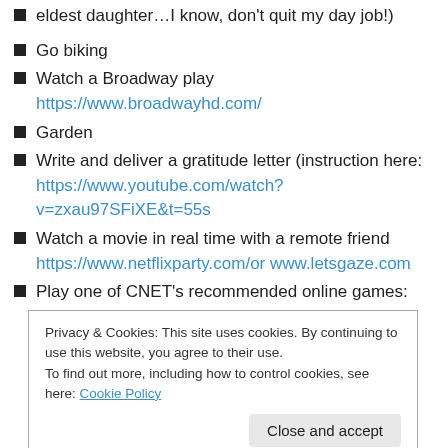eldest daughter…I know, don't quit my day job!)
Go biking
Watch a Broadway play https://www.broadwayhd.com/
Garden
Write and deliver a gratitude letter (instruction here: https://www.youtube.com/watch?v=zxau97SFiXE&t=55s
Watch a movie in real time with a remote friend https://www.netflixparty.com/ or www.letsgaze.com
Play one of CNET's recommended online games: https://www.cnet.com/how-to/all-the-best-online-
Privacy & Cookies: This site uses cookies. By continuing to use this website, you agree to their use. To find out more, including how to control cookies, see here: Cookie Policy
Play Drawphone: http://drawphone.tannerkrewson.com/